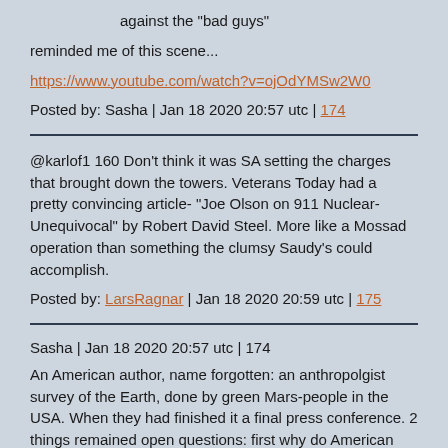against the "bad guys"
reminded me of this scene...
https://www.youtube.com/watch?v=ojOdYMSw2W0
Posted by: Sasha | Jan 18 2020 20:57 utc | 174
@karlof1 160 Don't think it was SA setting the charges that brought down the towers. Veterans Today had a pretty convincing article- "Joe Olson on 911 Nuclear-Unequivocal" by Robert David Steel. More like a Mossad operation than something the clumsy Saudy's could accomplish.
Posted by: LarsRagnar | Jan 18 2020 20:59 utc | 175
Sasha | Jan 18 2020 20:57 utc | 174
An American author, name forgotten: an anthropolgist survey of the Earth, done by green Mars-people in the USA. When they had finished it a final press conference. 2 things remained open questions: first why do American people like so much to see other people die? Second: what is the secret of the "blow job"?
The problem with parody is that in order to work it most resemble its object in an amount that makes that